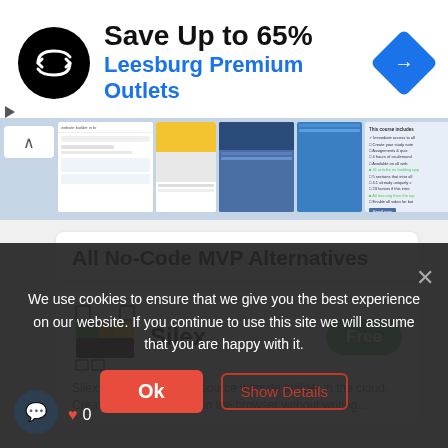[Figure (screenshot): Advertisement banner for Leesburg Premium Outlets showing logo, text 'Save Up to 65%', blue subtitle, navigation icon, and a screenshot of a website course page]
Save Up to 65%
Leesburg Premium Outlets
All No-Code MVP Alternatives
Silex
Free
Silex is a free and open source website builder in the cloud. Create websites directly in the browser without writing...
We use cookies to ensure that we give you the best experience on our website. If you continue to use this site we will assume that you are happy with it.
Ok
Show Details